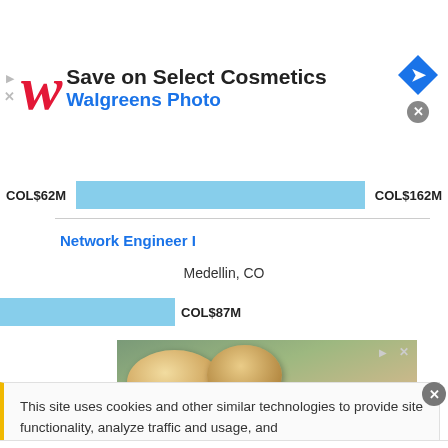[Figure (screenshot): Walgreens advertisement banner: Save on Select Cosmetics, Walgreens Photo, with Walgreens logo and navigation icon]
COL$62M   COL$162M
Network Engineer I
Medellin, CO
COL$87M
[Figure (photo): Food advertisement showing bread rolls and fried chicken on a napkin with gold/yellow bottom bar]
This site uses cookies and other similar technologies to provide site functionality, analyze traffic and usage, and